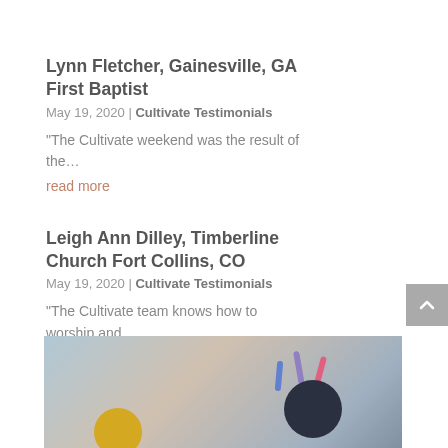Lynn Fletcher, Gainesville, GA First Baptist
May 19, 2020 | Cultivate Testimonials
"The Cultivate weekend was the result of the...
read more
Leigh Ann Dilley, Timberline Church Fort Collins, CO
May 19, 2020 | Cultivate Testimonials
"The Cultivate team knows how to worship and...
read more
[Figure (photo): Partial view of graduation caps with colorful ribbons/tassels against a light blue background]